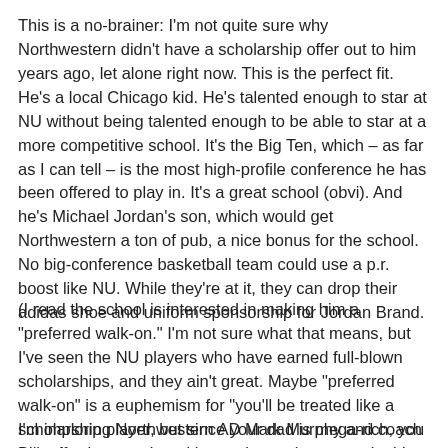This is a no-brainer: I'm not quite sure why Northwestern didn't have a scholarship offer out to him years ago, let alone right now. This is the perfect fit. He's a local Chicago kid. He's talented enough to star at NU without being talented enough to be able to star at a more competitive school. It's the Big Ten, which – as far as I can tell – is the most high-profile conference he has been offered to play in. It's a great school (obvi). And he's Michael Jordan's son, which would get Northwestern a ton of pub, a nice bonus for the school. No big-conference basketball team could use a p.r. boost like NU. While they're at it, they can drop their adidas shoe and uniform sponsorship for Jordan Brand.
(I read the school is interested in making him a "preferred walk-on." I'm not sure what that means, but I've seen the NU players who have earned full-blown scholarships, and they ain't great. Maybe "preferred walk-on" is a euphemism for "you'll be treated like a scholarship player, but since your dad is mega-rich, you can afford to pay the tuition and not take up a valuable scholarship spot.")
I'm imploring Northwestern AD Mark Murphy and coach Bill